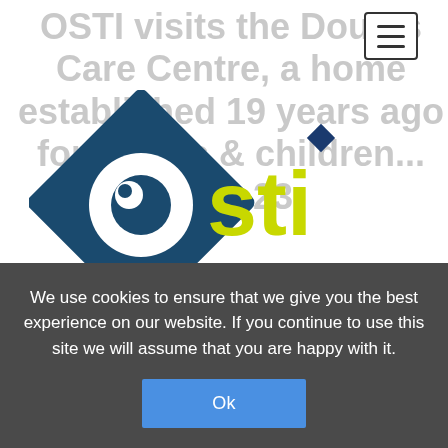OSTI visits the Doulos Care Centre, a home established 19 years ago for babies & children... OS - 23
[Figure (logo): OSTI logo — dark teal diamond with white circular eye/O shape, yellow-green text 'sti', blue diamond dot, with tagline 'ombudsman for short-term insurance']
A member of the OSTI team... donation comprising pyjamas and p... such as mealie meal, sugar, cake flour, instant yeast, baking powder, rice, cooking oil, pilchards, baked beans, oats, Bovril, spaghetti, jam, peanut butter, washing powder, toothpaste, antiperspirant/deodorant, vaseline and soap.
We use cookies to ensure that we give you the best experience on our website. If you continue to use this site we will assume that you are happy with it.